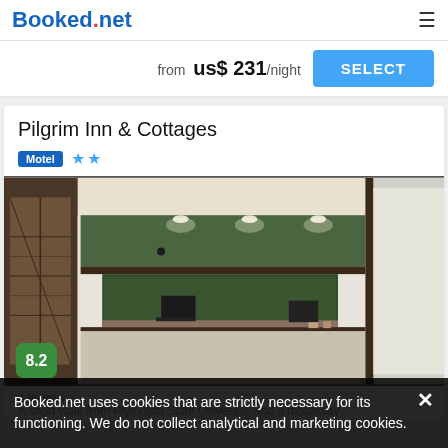Booked.net
from us$ 231/night SELECT
Pilgrim Inn & Cottages
Motel ★★
[Figure (photo): Hotel lobby/reception area with green wall panel, reception desk with window opening, dark wood framing, recessed ceiling lights]
8.2
Booked.net uses cookies that are strictly necessary for its functioning. We do not collect analytical and marketing cookies.
4 reviews
A short walk from Plymouth State University and a motorway